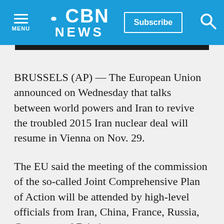CBN NEWS
BRUSSELS (AP) — The European Union announced on Wednesday that talks between world powers and Iran to revive the troubled 2015 Iran nuclear deal will resume in Vienna on Nov. 29.
The EU said the meeting of the commission of the so-called Joint Comprehensive Plan of Action will be attended by high-level officials from Iran, China, France, Russia, Germany and Britain.
“Participants will continue the discussions on